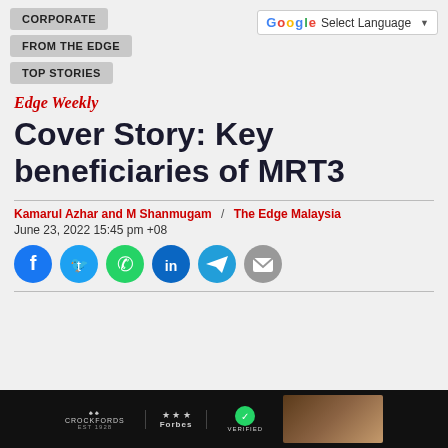CORPORATE | FROM THE EDGE | TOP STORIES
Select Language
Edge Weekly
Cover Story: Key beneficiaries of MRT3
Kamarul Azhar and M Shanmugam / The Edge Malaysia
June 23, 2022 15:45 pm +08
[Figure (infographic): Social sharing icons: Facebook, Twitter, WhatsApp, LinkedIn, Telegram, Email]
[Figure (infographic): Advertisement banner with Crockfords, Forbes, and Verified logos on dark background with lifestyle image]